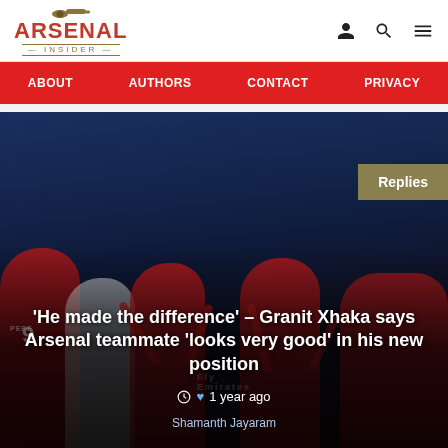Arsenal Insider
ABOUT
AUTHORS
CONTACT
PRIVACY
[Figure (photo): Arsenal players in red jerseys celebrating, with player number 9 (PEPE) visible on left, in a stadium setting]
'He made the difference' – Granit Xhaka says Arsenal teammate 'looks very good' in his new position
1 year ago
Shamanth Jayaram